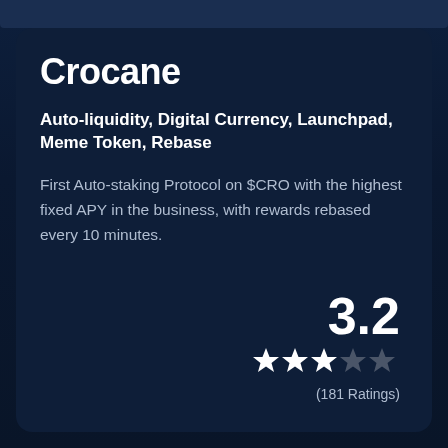Crocane
Auto-liquidity, Digital Currency, Launchpad, Meme Token, Rebase
First Auto-staking Protocol on $CRO with the highest fixed APY in the business, with rewards rebased every 10 minutes.
3.2
★★★★☆
(181 Ratings)